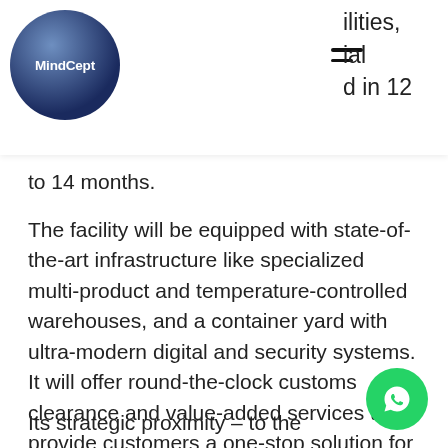MindCept logo and navigation header
to 14 months.
The facility will be equipped with state-of-the-art infrastructure like specialized multi-product and temperature-controlled warehouses, and a container yard with ultra-modern digital and security systems. It will offer round-the-clock customs clearance and value-added services to provide customers a one-stop solution for all their consumption and trading needs.
Its strategic proximity – to the